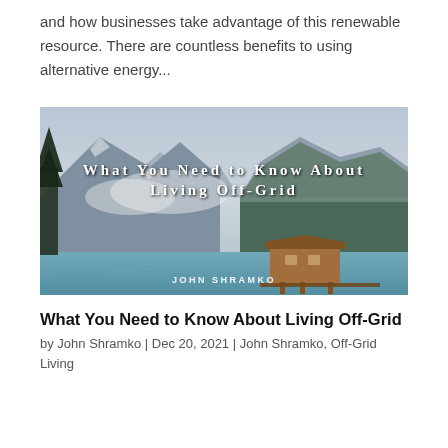and how businesses take advantage of this renewable resource. There are countless benefits to using alternative energy...
[Figure (photo): Mountain lake landscape with a wooden cabin on stilts over turquoise water, with forested mountains and clouds in the background. Overlaid text reads 'What You Need to Know About Living Off-Grid' and 'JOHN SHRAMKO' at the bottom.]
What You Need to Know About Living Off-Grid
by John Shramko | Dec 20, 2021 | John Shramko, Off-Grid Living